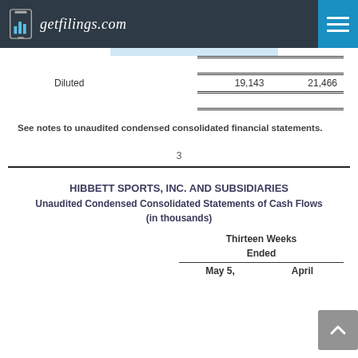getfilings.com
|  | Values1 | Values2 |
| --- | --- | --- |
| Diluted | 19,143 | 21,466 |
See notes to unaudited condensed consolidated financial statements.
3
HIBBETT SPORTS, INC. AND SUBSIDIARIES
Unaudited Condensed Consolidated Statements of Cash Flows
(in thousands)
|  | Thirteen Weeks Ended May 5, | Thirteen Weeks Ended April |
| --- | --- | --- |